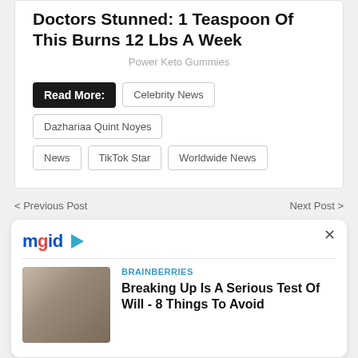Doctors Stunned: 1 Teaspoon Of This Burns 12 Lbs A Week
Power Keto Gummies
Read More:
Celebrity News
Dazhariaa Quint Noyes
News
TikTok Star
Worldwide News
< Previous Post
Next Post >
[Figure (screenshot): MGID widget with logo and article thumbnail]
BRAINBERRIES
Breaking Up Is A Serious Test Of Will - 8 Things To Avoid